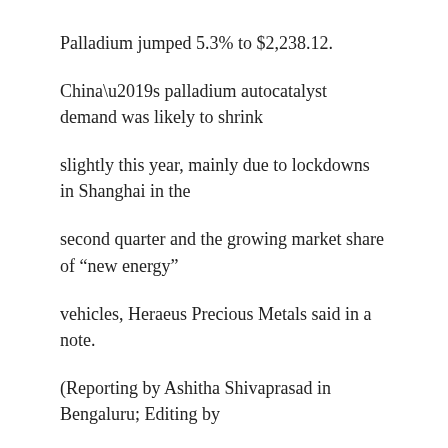Palladium jumped 5.3% to $2,238.12.
China’s palladium autocatalyst demand was likely to shrink
slightly this year, mainly due to lockdowns in Shanghai in the
second quarter and the growing market share of “new energy”
vehicles, Heraeus Precious Metals said in a note.
(Reporting by Ashitha Shivaprasad in Bengaluru; Editing by